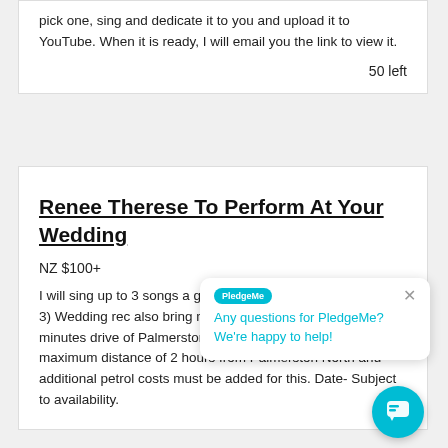pick one, sing and dedicate it to you and upload it to YouTube. When it is ready, I will email you the link to view it.
50 left
Renee Therese To Perform At Your Wedding
NZ $100+
I will sing up to 3 songs a gift to a friend). 1) Weddi Register 3) Wedding rec also bring my own PA sy wedding is within 30 minutes drive of Palmerston North. Wedding must be a maximum distance of 2 hours from Palmerston North and additional petrol costs must be added for this. Date- Subject to availability.